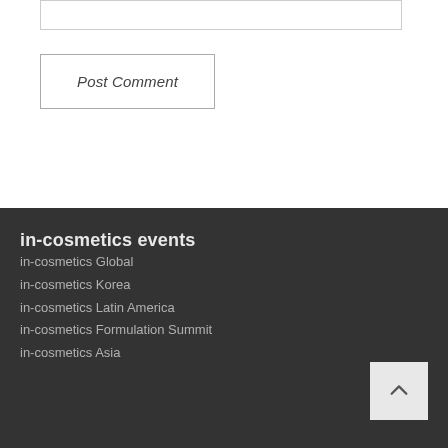Post Comment
in-cosmetics events
in-cosmetics Global
in-cosmetics Korea
in-cosmetics Latin America
in-cosmetics Formulation Summit
in-cosmetics Asia